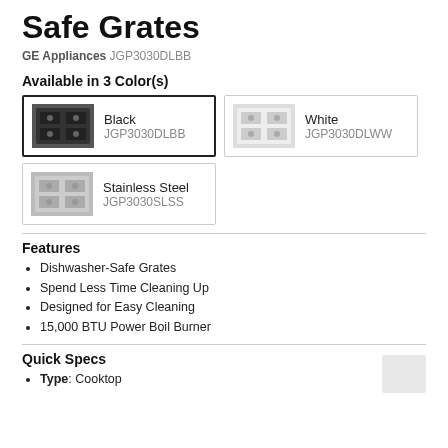Safe Grates
GE Appliances JGP3030DLBB
Available in 3 Color(s)
[Figure (other): Color option card: Black cooktop thumbnail, label Black, SKU JGP3030DLBB (selected/highlighted border)]
[Figure (other): Color option card: White cooktop thumbnail, label White, SKU JGP3030DLWW]
[Figure (other): Color option card: Stainless Steel cooktop thumbnail, label Stainless Steel, SKU JGP3030SLSS]
Features
Dishwasher-Safe Grates
Spend Less Time Cleaning Up
Designed for Easy Cleaning
15,000 BTU Power Boil Burner
Quick Specs
Type: Cooktop